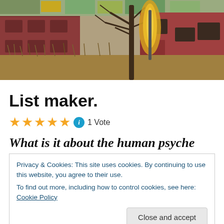[Figure (photo): Outdoor photo showing bare tree branches in foreground with a large feathered decoration or totem, a red-brick building in background, and dry grass/shrubs. Autumn/winter urban outdoor scene.]
List maker.
★★★★★ ℹ 1 Vote
What is it about the human psyche
Privacy & Cookies: This site uses cookies. By continuing to use this website, you agree to their use.
To find out more, including how to control cookies, see here: Cookie Policy
our grocery lists. I'm an organized person and pretty old